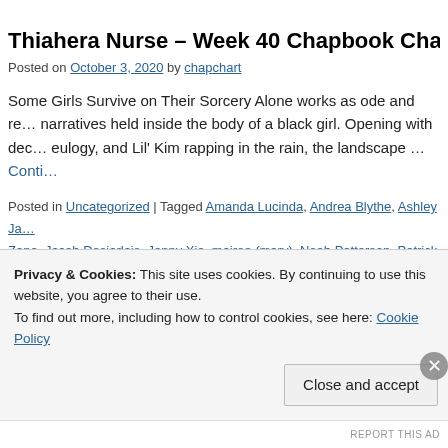Thiahera Nurse – Week 40 Chapbook Cha…
Posted on October 3, 2020 by chapchart
Some Girls Survive on Their Sorcery Alone works as ode and re… narratives held inside the body of a black girl. Opening with dec… eulogy, and Lil' Kim rapping in the rain, the landscape … Continue reading
Posted in Uncategorized | Tagged Amanda Lucinda, Andrea Blythe, Ashley Ja… Zane, Jacob Desjarlais, Jenny Xie, mairee (mary), Noah Patterson, Patrick E… Cisneros, Thiahera Nurse | Leave a comment
Privacy & Cookies: This site uses cookies. By continuing to use this website, you agree to their use. To find out more, including how to control cookies, see here: Cookie Policy
Close and accept